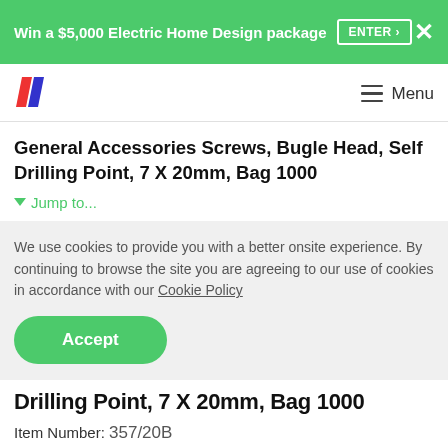Win a $5,000 Electric Home Design package  ENTER >  X
[Figure (logo): Stylised double-slash logo in red and dark blue]
Menu
General Accessories Screws, Bugle Head, Self Drilling Point, 7 X 20mm, Bag 1000
Jump to...
We use cookies to provide you with a better onsite experience. By continuing to browse the site you are agreeing to our use of cookies in accordance with our Cookie Policy
Accept
Drilling Point, 7 X 20mm, Bag 1000
Item Number: 357/20B